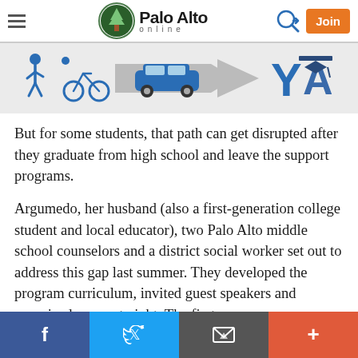Palo Alto online — navigation header with logo, login arrow, and Join button
[Figure (infographic): Infographic showing pedestrian, cyclist, and car icons with arrow pointing to a stylized Y and A letters in blue, representing transition to college/adulthood]
But for some students, that path can get disrupted after they graduate from high school and leave the support programs.
Argumedo, her husband (also a first-generation college student and local educator), two Palo Alto middle school counselors and a district social worker set out to address this gap last summer. They developed the program curriculum, invited guest speakers and organized a parent night. The first year
Social share buttons: Facebook, Twitter, Email, Plus